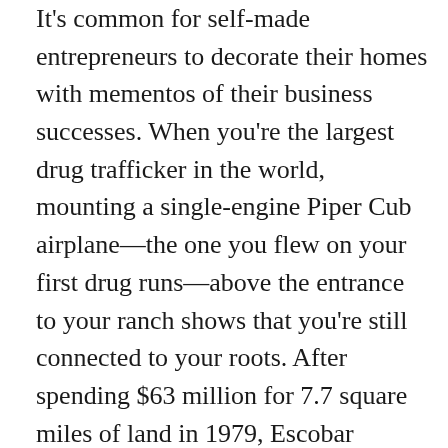It's common for self-made entrepreneurs to decorate their homes with mementos of their business successes. When you're the largest drug trafficker in the world, mounting a single-engine Piper Cub airplane—the one you flew on your first drug runs—above the entrance to your ranch shows that you're still connected to your roots. After spending $63 million for 7.7 square miles of land in 1979, Escobar invested untold millions more building his own retreat, a Spanish-style colonial villa in Colombia complete with an airstrip, helipads, 24 artificial lakes, and a swimming pool containing a marble statue of Venus. He fashioned the sprawling estate in the Magdalena Medio region into a playground for him and his family, complete with a Go-Kart track and one of the world's largest private zoos, a menagerie of animals including giraffes, ostriches, elephants, a "football-